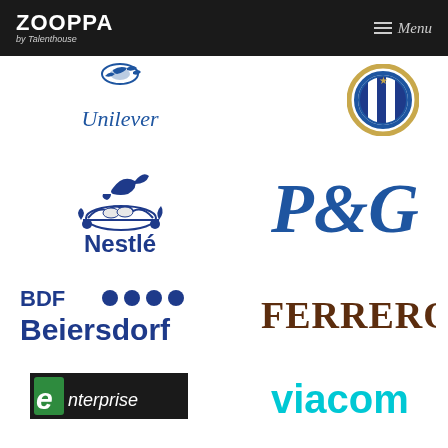ZOOPPA by Talenthouse | Menu
[Figure (logo): Unilever logo - blue script text 'Unilever' with small bird icon above]
[Figure (logo): Inter Milan FC badge - circular gold and blue shield emblem]
[Figure (logo): Nestlé logo - blue bird in nest illustration above 'Nestlé' text in dark blue]
[Figure (logo): P&G logo - large bold blue italic text 'P&G']
[Figure (logo): Beiersdorf logo - 'BDF' text with four blue dots and 'Beiersdorf' below in dark blue]
[Figure (logo): Ferrero logo - bold brown uppercase serif text 'FERRERO']
[Figure (logo): Enterprise logo - white italic text 'enterprise' on green background with green 'e' mark]
[Figure (logo): Viacom logo - cyan/teal bold text 'viacom']